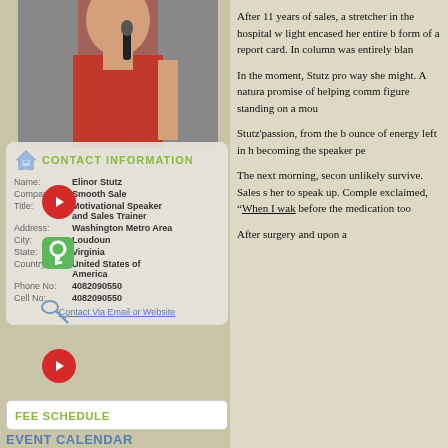[Figure (photo): Woman in red dress holding microphone, partial view (head cropped at top)]
CONTACT INFORMATION
| Field | Value |
| --- | --- |
| Name: | Elinor Stutz |
| Company: | Smooth Sale |
| Title: | Motivational Speaker and Sales Trainer |
| Address: | Washington Metro Area |
| City: | Loudoun |
| State: | Virginia |
| Country: | United States of America |
| Phone No: | 4082090550 |
| Cell No: | 4082090550 |
Contact Via Email or Website
FEE SCHEDULE
EVENT CALENDAR
After 11 years of sales, a stretcher in the hospital w light encased her entire b form of a report card. In column was entirely blan
In the moment, Stutz pro way she might. A natura promise of helping comm figure standing on a mou
Stutz'passion, from the b ounce of energy left in h becoming the speaker pe
The next morning, secon unlikely survive. Sales s her to speak up. Comple exclaimed, "When I wak before the medication too
After surgery and upon a